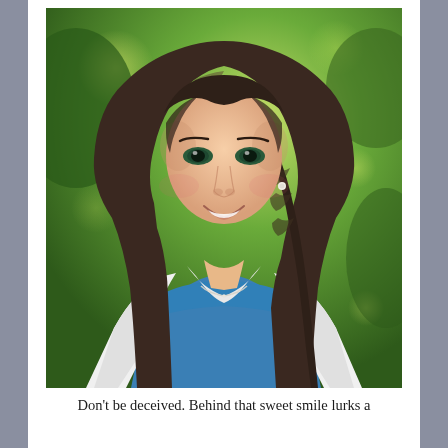[Figure (photo): Portrait photo of a smiling young woman with long dark brown hair with a side braid, wearing a white open shirt over a blue top and a delicate necklace, photographed outdoors against a green bokeh background.]
Don't be deceived. Behind that sweet smile lurks a